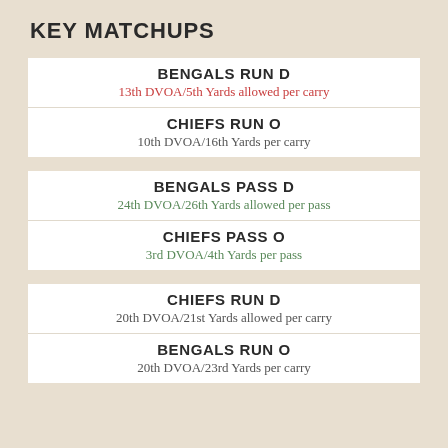KEY MATCHUPS
BENGALS RUN D
13th DVOA/5th Yards allowed per carry
CHIEFS RUN O
10th DVOA/16th Yards per carry
BENGALS PASS D
24th DVOA/26th Yards allowed per pass
CHIEFS PASS O
3rd DVOA/4th Yards per pass
CHIEFS RUN D
20th DVOA/21st Yards allowed per carry
BENGALS RUN O
20th DVOA/23rd Yards per carry